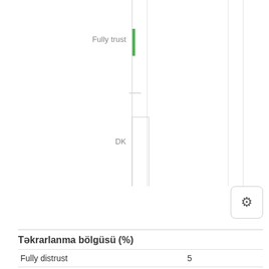[Figure (bar-chart): Partial horizontal bar chart showing 'Fully trust' and 'DK' labels on y-axis with vertical gridlines. Only the bottom portion of the chart is visible.]
|  | Təkrarlanma bölgüsü (%) |
| --- | --- |
| Fully distrust | 5 |
| Distrust | 12 |
| Neutral | 36 |
| Trust | 41 |
| Fully trust | 5 |